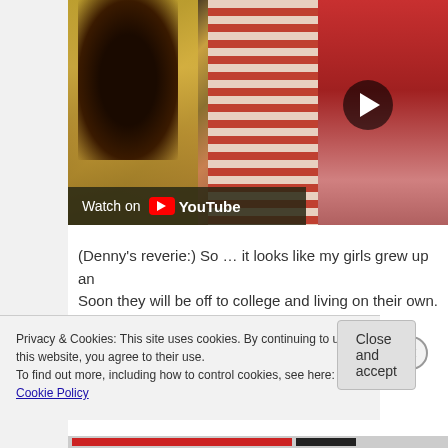[Figure (screenshot): YouTube video thumbnail showing several young women; a play button is visible on the right side. A 'Watch on YouTube' overlay bar appears at the bottom left of the video.]
(Denny's reverie:) So … it looks like my girls grew up an… Soon they will be off to college and living on their own. A…
Privacy & Cookies: This site uses cookies. By continuing to use this website, you agree to their use.
To find out more, including how to control cookies, see here: Cookie Policy
Close and accept